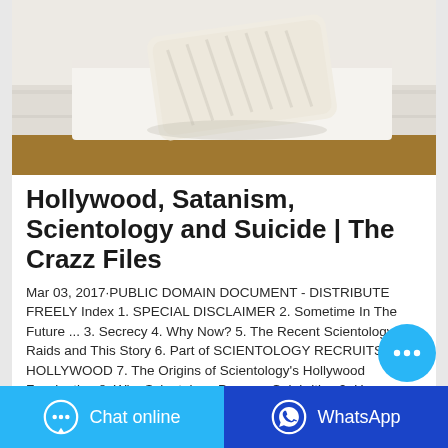[Figure (photo): Photo of a white bar of soap on white folded cloth/towels on a wooden surface]
Hollywood, Satanism, Scientology and Suicide | The Crazz Files
Mar 03, 2017·PUBLIC DOMAIN DOCUMENT - DISTRIBUTE FREELY Index 1. SPECIAL DISCLAIMER 2. Sometime In The Future ... 3. Secrecy 4. Why Now? 5. The Recent Scientology Raids and This Story 6. Part of SCIENTOLOGY RECRUITS HOLLYWOOD 7. The Origins of Scientology's Hollywood Fascination 8. Why Scientology Pursues Celebrities 9. How Celebrities Are
[Figure (other): Blue circular chat bubble button with ellipsis (…) icon]
[Figure (other): Bottom bar with two buttons: 'Chat online' (light blue) and 'WhatsApp' (dark blue)]